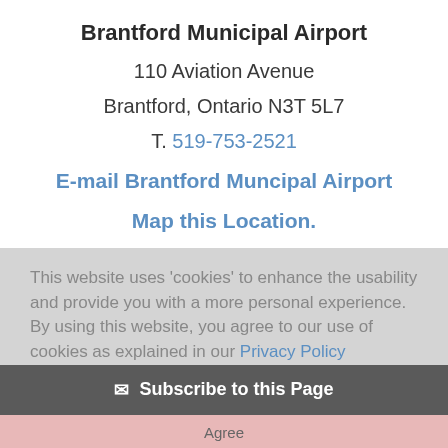Brantford Municipal Airport
110 Aviation Avenue
Brantford, Ontario N3T 5L7
T. 519-753-2521
E-mail Brantford Muncipal Airport
Map this Location.
This website uses 'cookies' to enhance the usability and provide you with a more personal experience. By using this website, you agree to our use of cookies as explained in our Privacy Policy
Subscribe to this Page
Agree
We're here to help
Get in touch with us.